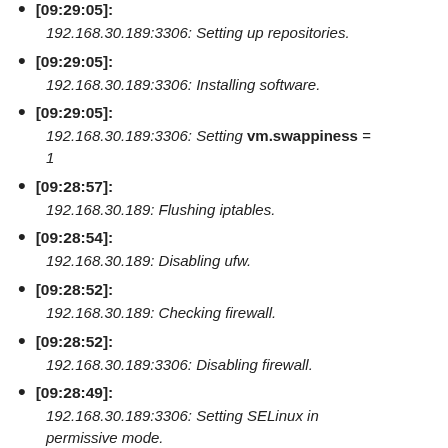[09:29:05]: 192.168.30.189:3306: Setting up repositories.
[09:29:05]: 192.168.30.189:3306: Installing software.
[09:29:05]: 192.168.30.189:3306: Setting vm.swappiness = 1
[09:28:57]: 192.168.30.189: Flushing iptables.
[09:28:54]: 192.168.30.189: Disabling ufw.
[09:28:52]: 192.168.30.189: Checking firewall.
[09:28:52]: 192.168.30.189:3306: Disabling firewall.
[09:28:49]: 192.168.30.189:3306: Setting SELinux in permissive mode.